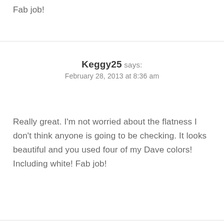Fab job!
Keggy25 says:
February 28, 2013 at 8:36 am
Really great. I'm not worried about the flatness I don't think anyone is going to be checking. It looks beautiful and you used four of my Dave colors! Including white! Fab job!